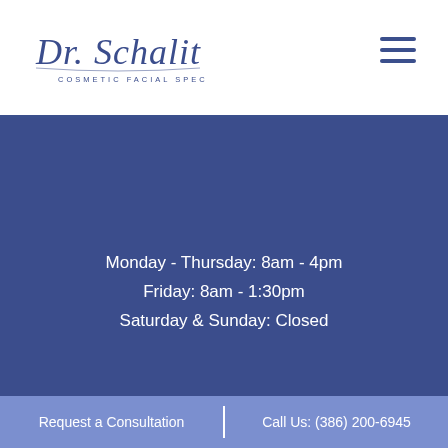[Figure (logo): Dr. Schalit Cosmetic Facial Specialist logo in cursive script]
Monday - Thursday: 8am - 4pm
Friday: 8am - 1:30pm
Saturday & Sunday: Closed
Home
Meet Dr. Schalit
Facial Cosmetic Surgery
Non-Surgical Treatments
B&A Gallery
Testimonials
Blog
Contact Us
© 2022 Dr. Schalit Facial Cosmetic Surgeon | Privacy & Disclaimer
Marketing & Website Development by TRBO
Request a Consultation  |  Call Us: (386) 200-6945